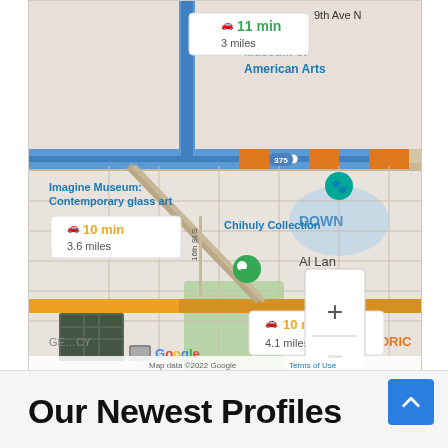[Figure (screenshot): Google Maps screenshot showing driving routes with times (11 min 3 miles, 10 min 3.6 miles, 10 min 4.1 miles) near downtown St. Petersburg FL area, with landmarks: Museum of American Arts, Imagine Museum (Contemporary glass art), Chihuly Collection, Al Lan, highway 375, highway 175, 16th St S shown. Map has zoom controls (+/-). Footer shows Google logo and 'Map data ©2022 Google   Terms of Use'.]
Our Newest Profiles